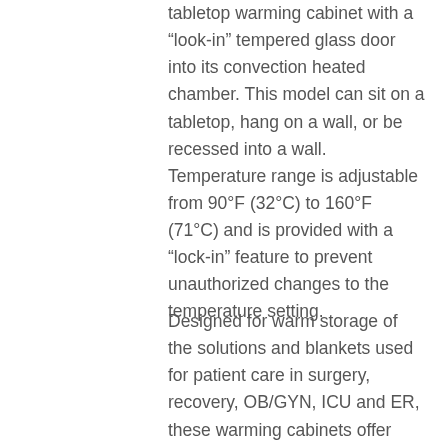tabletop warming cabinet with a “look-in” tempered glass door into its convection heated chamber. This model can sit on a tabletop, hang on a wall, or be recessed into a wall. Temperature range is adjustable from 90°F (32°C) to 160°F (71°C) and is provided with a “lock-in” feature to prevent unauthorized changes to the temperature setting.
Designed for warm storage of the solutions and blankets used for patient care in surgery, recovery, OB/GYN, ICU and ER, these warming cabinets offer independently controlled, convection-